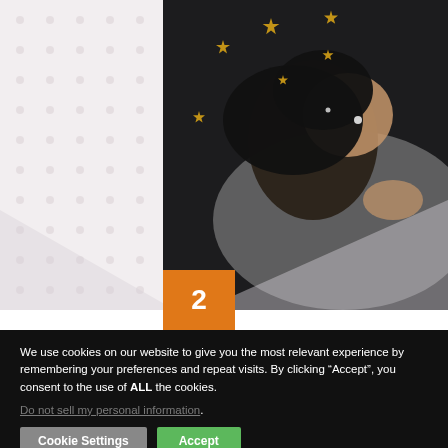[Figure (photo): A girl lying down surrounded by gold star confetti against a dark background, with stars on her face and holding stars in her hand.]
Fun, Feel-Good, & Empowering Middle Grade and
We use cookies on our website to give you the most relevant experience by remembering your preferences and repeat visits. By clicking “Accept”, you consent to the use of ALL the cookies.
Do not sell my personal information.